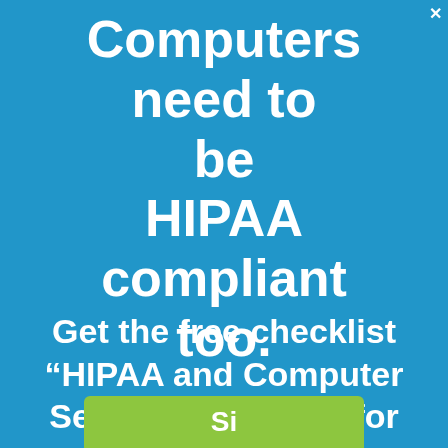Computers need to be HIPAA compliant too.
Get the free checklist “HIPAA and Computer Security Checklist for Small Practices.”
[Figure (other): Green button at bottom of page (partially visible)]